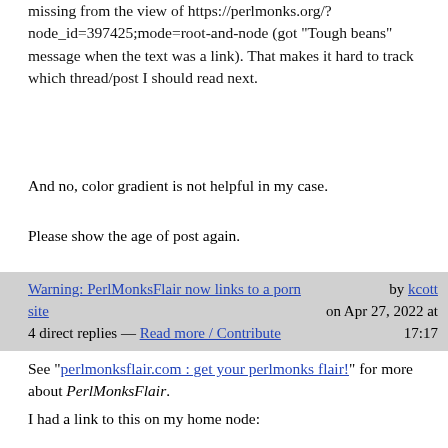missing from the view of https://perlmonks.org/?node_id=397425;mode=root-and-node (got "Tough beans" message when the text was a link). That makes it hard to track which thread/post I should read next.
And no, color gradient is not helpful in my case.
Please show the age of post again.
Warning: PerlMonksFlair now links to a porn site  4 direct replies — Read more / Contribute  by kcott on Apr 27, 2022 at 17:17
See "perlmonksflair.com : get your perlmonks flair!" for more about PerlMonksFlair.
I had a link to this on my home node:
<p>[id://1049026|PerlMonks Badge]:
[http://www.perlmonksflair.com/kcot
+t.jpg]</p>
[download]
Overnight, ++Cristoforo advised me: "Someone linked your `perlmonksflair` link to a porn site!". I immediately removed that paragraph. I'm reasonably